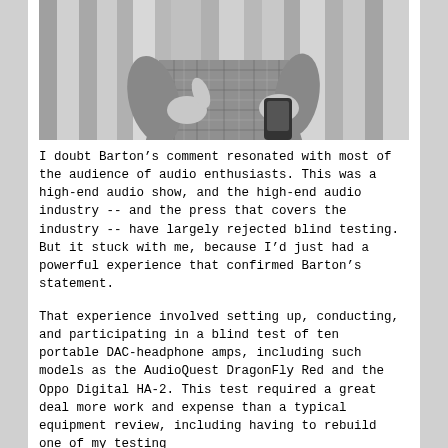[Figure (photo): Black and white photo of a person from the torso down, wearing a plaid button-up shirt, holding a small electronic device in their hands, with a curtained backdrop behind them.]
I doubt Barton’s comment resonated with most of the audience of audio enthusiasts. This was a high-end audio show, and the high-end audio industry -- and the press that covers the industry -- have largely rejected blind testing. But it stuck with me, because I’d just had a powerful experience that confirmed Barton’s statement.
That experience involved setting up, conducting, and participating in a blind test of ten portable DAC-headphone amps, including such models as the AudioQuest DragonFly Red and the Oppo Digital HA-2. This test required a great deal more work and expense than a typical equipment review, including having to rebuild one of my testing setups, getting a from PC with matching